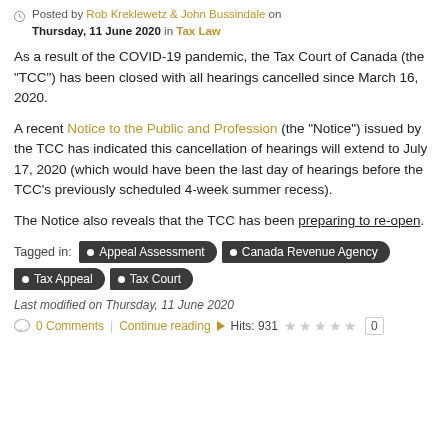Posted by Rob Kreklewetz & John Bussindale on Thursday, 11 June 2020 in Tax Law
As a result of the COVID-19 pandemic, the Tax Court of Canada (the "TCC") has been closed with all hearings cancelled since March 16, 2020.
A recent Notice to the Public and Profession (the "Notice") issued by the TCC has indicated this cancellation of hearings will extend to July 17, 2020 (which would have been the last day of hearings before the TCC's previously scheduled 4-week summer recess).
The Notice also reveals that the TCC has been preparing to re-open.
Tagged in: Appeal Assessment  Canada Revenue Agency  Tax Appeal  Tax Court
Last modified on Thursday, 11 June 2020
0 Comments  Continue reading  Hits: 931  0